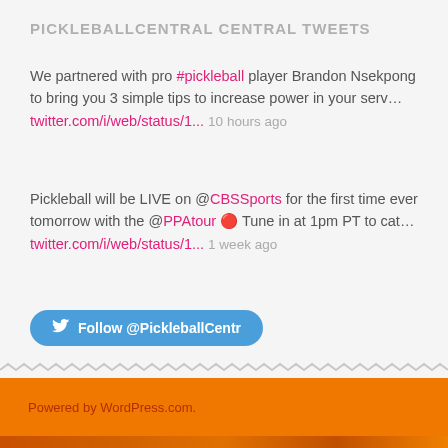PICKLEBALLCENTRAL CENTRAL TWEETS
We partnered with pro #pickleball player Brandon Nsekpong to bring you 3 simple tips to increase power in your serv… twitter.com/i/web/status/1... 10 hours ago
Pickleball will be LIVE on @CBSSSports for the first time ever tomorrow with the @PPAtour 🔴 Tune in at 1pm PT to cat… twitter.com/i/web/status/1... 1 week ago
Follow @PickleballCentr
Powered by WordPress.com.
Go to mobile version